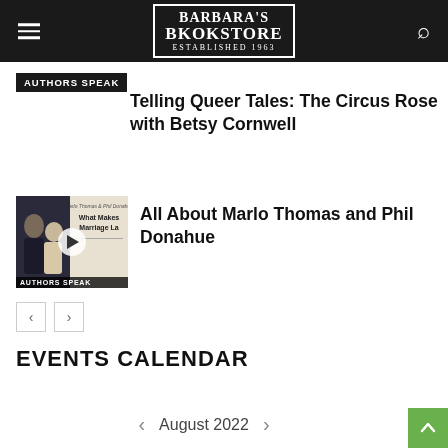Barbara's Bookstore — Established 1963
AUTHORS SPEAK
Telling Queer Tales: The Circus Rose with Betsy Cornwell
[Figure (photo): Thumbnail image of book cover 'What Makes Marriage La' by Marlo Thomas and Phil Donahue, showing two people. Has a play button overlay and AUTHORS SPEAK badge at bottom.]
All About Marlo Thomas and Phil Donahue
EVENTS CALENDAR
August 2022